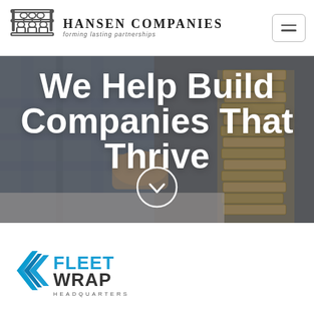Hansen Companies — forming lasting partnerships
[Figure (photo): A person's hand stacking wooden Jenga-style blocks, background image for hero section]
We Help Build Companies That Thrive
[Figure (logo): Fleet Wrap Headquarters logo — blue geometric arrow/chevron icon with bold text FLEETWRAP HEADQUARTERS]
[Figure (logo): Renegade Dermatology Marketing logo — teal interlocking shapes icon with text RENEGADE DERMATOLOGY MARKETING]